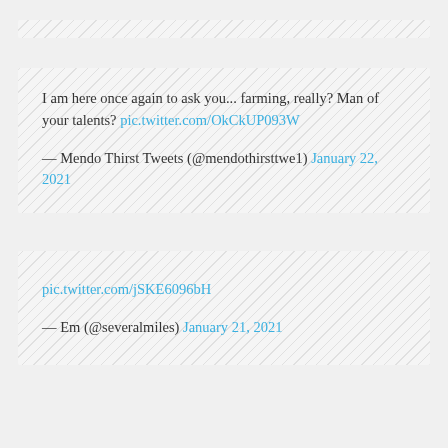I am here once again to ask you... farming, really? Man of your talents? pic.twitter.com/OkCkUP093W

— Mendo Thirst Tweets (@mendothirsttwe1) January 22, 2021
pic.twitter.com/jSKE6096bH

— Em (@severalmiles) January 21, 2021